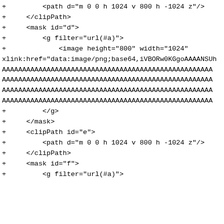+         <path d="m 0 0 h 1024 v 800 h -1024 z"/>
+     </clipPath>
+     <mask id="d">
+         <g filter="url(#a)">
+             <image height="800" width="1024"
xlink:href="data:image/png;base64,iVBORw0KGgoAAAANSUh
AAAAAAAAAAAAAAAAAAAAAAAAAAAAAAAAAAAAAAAAAAAAAAAAAAAAA
AAAAAAAAAAAAAAAAAAAAAAAAAAAAAAAAAAAAAAAAAAAAAAAAAAAAA
AAAAAAAAAAAAAAAAAAAAAAAAAAAAAAAAAAAAAAAAAAAAAAAAAAAAA
AAAAAAAAAAAAAAAAAAAAAAAAAAAAAAAAAAAAAAAAAAAAAAAAAAAAA
+         </g>
+     </mask>
+     <clipPath id="e">
+         <path d="m 0 0 h 1024 v 800 h -1024 z"/>
+     </clipPath>
+     <mask id="f">
+         <g filter="url(#a)">